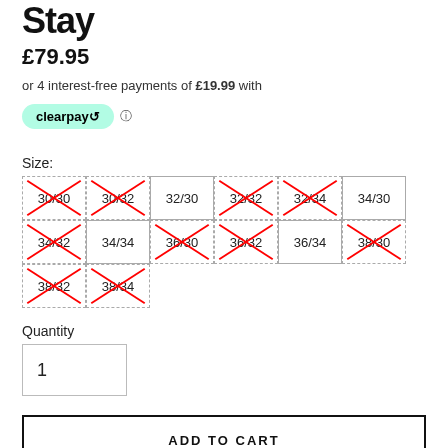Stay
£79.95
or 4 interest-free payments of £19.99 with
[Figure (logo): Clearpay logo button in mint green with info icon]
Size:
[Figure (other): Size selector grid with sizes 30/30 through 38/34; crossed out sizes indicate out of stock: 30/30, 30/32, 32/32, 32/34, 34/32, 36/30, 36/32, 38/30, 38/32, 38/34]
Quantity
1
ADD TO CART